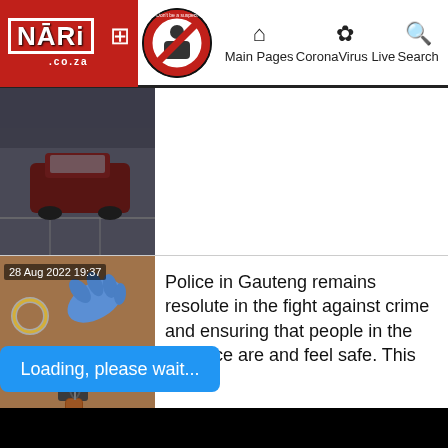[Figure (screenshot): Website navigation bar with NARI logo, hamburger menu, COVID-19 circle icon, and nav links: Main Pages, CoronaVirus Live, Search]
[Figure (photo): CCTV footage of a parking lot with a dark red/maroon car visible]
[Figure (photo): Photo of crime scene evidence: a revolver handgun, a glove, and a ring on sandy/dirt ground. Timestamp: 28 Aug 2022 19:37]
Police in Gauteng remains resolute in the fight against crime and ensuring that people in the province are and feel safe. This pas
Loading, please wait...